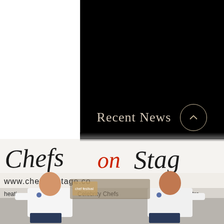Recent News
[Figure (photo): Two men in white chef jackets standing in front of a 'Chefs on Stage' banner showing the website www.chefsonstage.co and text 'Celebrity Chefs' and 'monstra' (demonstrations). A food festival truck is visible in the background.]